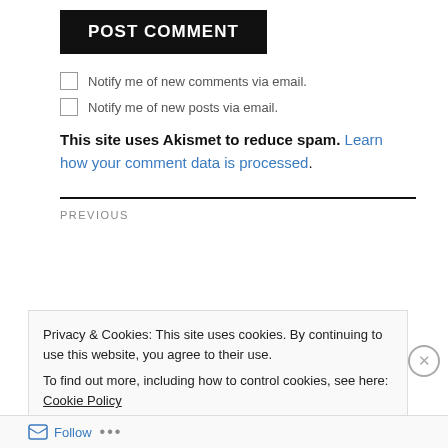POST COMMENT
Notify me of new comments via email.
Notify me of new posts via email.
This site uses Akismet to reduce spam. Learn how your comment data is processed.
PREVIOUS
Privacy & Cookies: This site uses cookies. By continuing to use this website, you agree to their use.
To find out more, including how to control cookies, see here: Cookie Policy
Close and accept
Follow